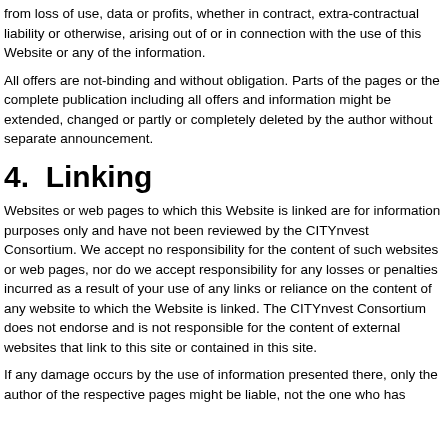from loss of use, data or profits, whether in contract, extra-contractual liability or otherwise, arising out of or in connection with the use of this Website or any of the information.
All offers are not-binding and without obligation. Parts of the pages or the complete publication including all offers and information might be extended, changed or partly or completely deleted by the author without separate announcement.
4.  Linking
Websites or web pages to which this Website is linked are for information purposes only and have not been reviewed by the CITYnvest Consortium. We accept no responsibility for the content of such websites or web pages, nor do we accept responsibility for any losses or penalties incurred as a result of your use of any links or reliance on the content of any website to which the Website is linked. The CITYnvest Consortium does not endorse and is not responsible for the content of external websites that link to this site or contained in this site.
If any damage occurs by the use of information presented there, only the author of the respective pages might be liable, not the one who has